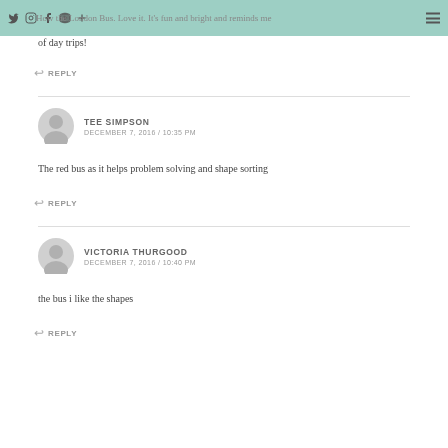Social media icons and navigation header
How the London Bus. Love it. It's fun and bright and reminds me of day trips!
↩ REPLY
TEE SIMPSON
DECEMBER 7, 2016 / 10:35 PM
The red bus as it helps problem solving and shape sorting
↩ REPLY
VICTORIA THURGOOD
DECEMBER 7, 2016 / 10:40 PM
the bus i like the shapes
↩ REPLY